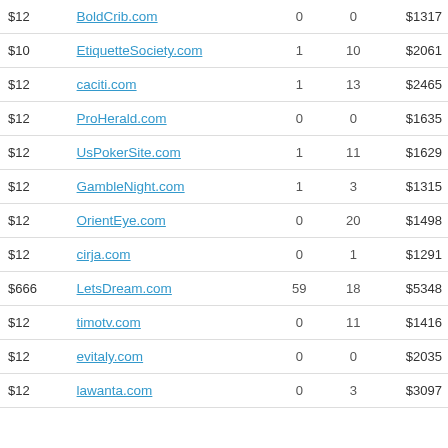| Price | Domain | Col3 | Col4 | Value |
| --- | --- | --- | --- | --- |
| $12 | BoldCrib.com | 0 | 0 | $1317 |
| $10 | EtiquetteSociety.com | 1 | 10 | $2061 |
| $12 | caciti.com | 1 | 13 | $2465 |
| $12 | ProHerald.com | 0 | 0 | $1635 |
| $12 | UsPokerSite.com | 1 | 11 | $1629 |
| $12 | GambleNight.com | 1 | 3 | $1315 |
| $12 | OrientEye.com | 0 | 20 | $1498 |
| $12 | cirja.com | 0 | 1 | $1291 |
| $666 | LetsDream.com | 59 | 18 | $5348 |
| $12 | timotv.com | 0 | 11 | $1416 |
| $12 | evitaly.com | 0 | 0 | $2035 |
| $12 | lawanta.com | 0 | 3 | $3097 |